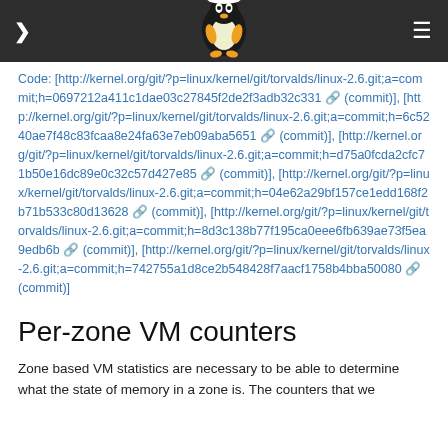Navigation bar with Linux kernel Tux logo
Code: [http://kernel.org/git/?p=linux/kernel/git/torvalds/linux-2.6.git;a=commit;h=0697212a411c1dae03c27845f2de2f3adb32c331 (commit)], [http://kernel.org/git/?p=linux/kernel/git/torvalds/linux-2.6.git;a=commit;h=6c5240ae7f48c83fcaa8e24fa63e7eb09aba5651 (commit)], [http://kernel.org/git/?p=linux/kernel/git/torvalds/linux-2.6.git;a=commit;h=d75a0fcda2cfc71b50e16dc89e0c32c57d427e85 (commit)], [http://kernel.org/git/?p=linux/kernel/git/torvalds/linux-2.6.git;a=commit;h=04e62a29bf157ce1edd168f2b71b533c80d13628 (commit)], [http://kernel.org/git/?p=linux/kernel/git/torvalds/linux-2.6.git;a=commit;h=8d3c138b77f195ca0eee6fb639ae73f5ea9edb6b (commit)], [http://kernel.org/git/?p=linux/kernel/git/torvalds/linux-2.6.git;a=commit;h=742755a1d8ce2b548428f7aacf1758b4bba50080 (commit)]
Per-zone VM counters
Zone based VM statistics are necessary to be able to determine what the state of memory in a zone is. The counters that we